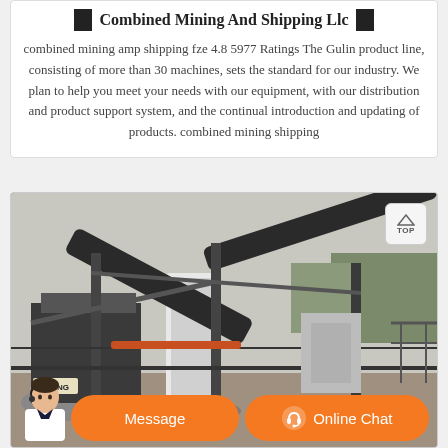Combined Mining And Shipping Llc
combined mining amp shipping fze 4.8 5977 Ratings The Gulin product line, consisting of more than 30 machines, sets the standard for our industry. We plan to help you meet your needs with our equipment, with our distribution and product support system, and the continual introduction and updating of products. combined mining shipping
[Figure (photo): Photograph of a large industrial mining/crushing plant with conveyor belts, machinery, and equipment outdoors. A 'TOP' navigation button overlay appears in the top-right corner. At the bottom, an orange chat bar with a customer service avatar, a 'Message' button, and an 'Online Chat' button.]